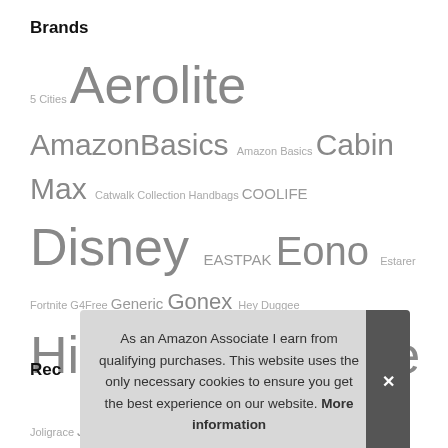Brands
5 Cities Aerolite AmazonBasics Amazon Basics Cabin Max Catwalk Collection Handbags COOLIFE Disney EASTPAK Eono Estarer Fortnite G4Free Generic Gonex Hey Duggee Hippowarehouse Joligrace JOSEKO KALIDI Karabar Kipling Kono KROSER LAVIEVERT Lorenz MATEIN Miss Lulu NEWHEY Peppa Pig Pierre Cardin POWR S-ZONE Samsonite Slimbridge STARHIDE Tommy Hilfiger TRAVANDO trtl Trunki Under Armour VASCHY Visconti Wenger Yaheetech
As an Amazon Associate I earn from qualifying purchases. This website uses the only necessary cookies to ensure you get the best experience on our website. More information
Rec